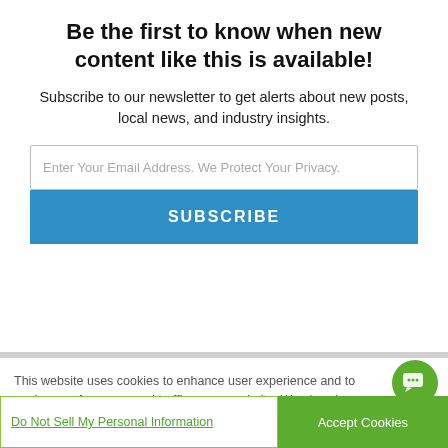Be the first to know when new content like this is available!
Subscribe to our newsletter to get alerts about new posts, local news, and industry insights.
[Figure (screenshot): Email input field with placeholder text: Enter Your Email Address. We Protect Your Privacy.]
[Figure (screenshot): Subscribe button in blue with white bold uppercase text SUBSCRIBE]
This website uses cookies to enhance user experience and to analyze performance and traffic on our website. We also share information about your use of our site with our social media, advertising and analytics partners.
Do Not Sell My Personal Information
Accept Cookies